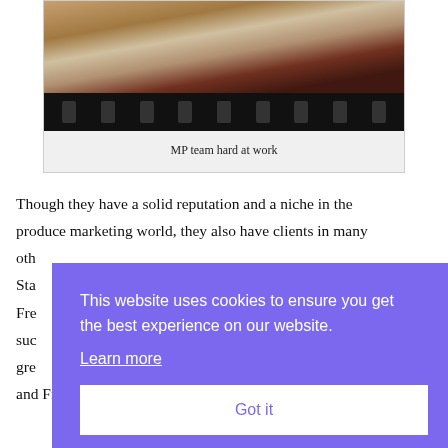[Figure (photo): Photo of the MP team hard at work, showing people with a camera, overlaid on a film strip background]
MP team hard at work
Though they have a solid reputation and a niche in the produce marketing world, they also have clients in many oth... Sta... Fre... suc... gre... and Fresno audiences.
This website uses cookies to ensure you get the best experience on our website. Learn more
Got it